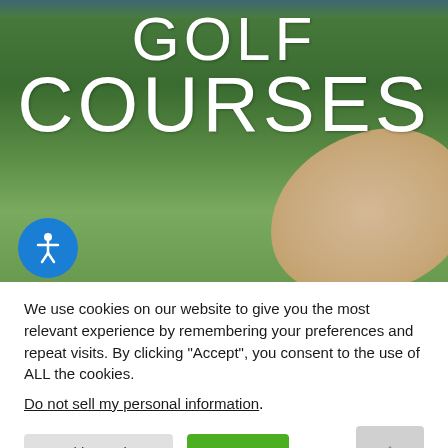[Figure (photo): Golf course hero image showing green fairway with sand trap, overlaid with large white text reading GOLF COURSES. Blue accessibility icon button in lower left of image.]
We use cookies on our website to give you the most relevant experience by remembering your preferences and repeat visits. By clicking “Accept”, you consent to the use of ALL the cookies.
Do not sell my personal information.
Cookie Settings | Accept